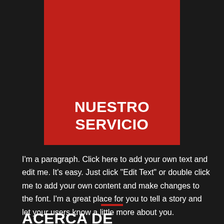NUESTRO SERVICIO
I'm a paragraph. Click here to add your own text and edit me. It's easy. Just click "Edit Text" or double click me to add your own content and make changes to the font. I'm a great place for you to tell a story and let your users know a little more about you.
ACERCA DE